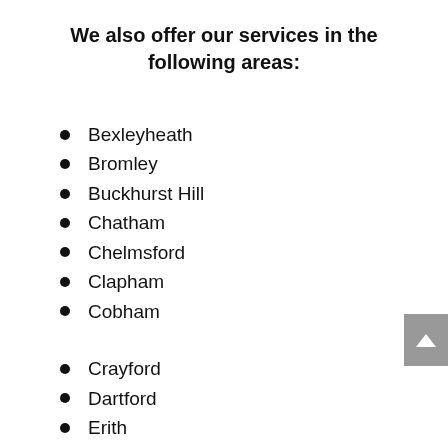We also offer our services in the following areas:
Bexleyheath
Bromley
Buckhurst Hill
Chatham
Chelmsford
Clapham
Cobham
Crayford
Dartford
Erith
Gillingham